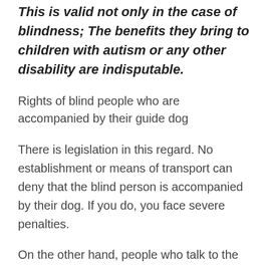This is valid not only in the case of blindness; The benefits they bring to children with autism or any other disability are indisputable.
Rights of blind people who are accompanied by their guide dog
There is legislation in this regard. No establishment or means of transport can deny that the blind person is accompanied by their dog. If you do, you face severe penalties.
On the other hand, people who talk to the